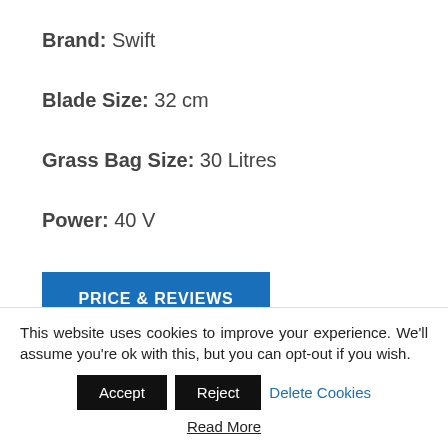Brand: Swift
Blade Size: 32 cm
Grass Bag Size: 30 Litres
Power: 40 V
PRICE & REVIEWS
This website uses cookies to improve your experience. We'll assume you're ok with this, but you can opt-out if you wish.
Accept
Reject
Delete Cookies
Read More